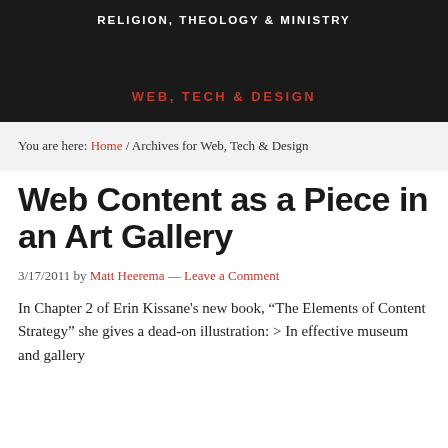RELIGION, THEOLOGY & MINISTRY
WEB, TECH & DESIGN
You are here: Home / Archives for Web, Tech & Design
Web Content as a Piece in an Art Gallery
3/17/2011 by Matt Heerema — Leave a Comment
In Chapter 2 of Erin Kissane's new book, “The Elements of Content Strategy” she gives a dead-on illustration: > In effective museum and gallery